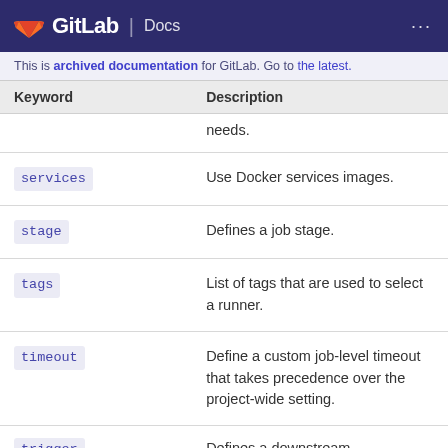GitLab Docs
This is archived documentation for GitLab. Go to the latest.
| Keyword | Description |
| --- | --- |
|  | needs. |
| services | Use Docker services images. |
| stage | Defines a job stage. |
| tags | List of tags that are used to select a runner. |
| timeout | Define a custom job-level timeout that takes precedence over the project-wide setting. |
| trigger | Defines a downstream |